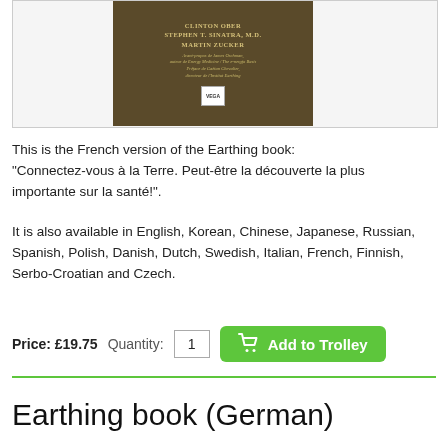[Figure (photo): Book cover of the French version of the Earthing book, showing authors Clinton Ober, Stephen T. Sinatra M.D., Martin Zucker, with a dark earthy background and golden text, published by Vega.]
This is the French version of the Earthing book: "Connectez-vous à la Terre. Peut-être la découverte la plus importante sur la santé!".
It is also available in English, Korean, Chinese, Japanese, Russian, Spanish, Polish, Danish, Dutch, Swedish, Italian, French, Finnish, Serbo-Croatian and Czech.
Price: £19.75   Quantity: 1   Add to Trolley
Earthing book (German)